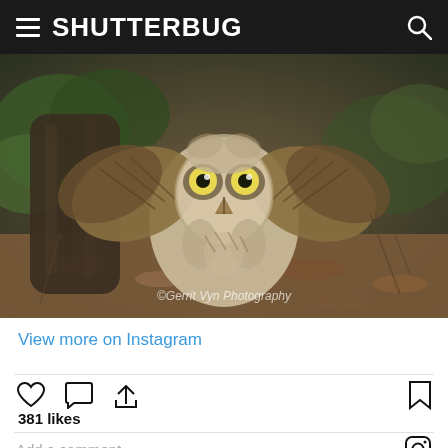SHUTTERBUG
[Figure (photo): A juvenile great horned owl with wide yellow eyes and spreading wings, standing on a forest floor covered with dead leaves and vegetation. Watermark reads: ©Gerrit Vyn Photography]
View more on Instagram
381 likes
Add a comment...